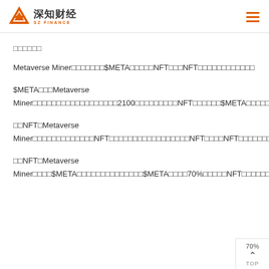深知财经 SZ FINANCE
□□□□□□
Metaverse Miner□□□□□□□$META□□□□□NFT□□□NFT□□□□□□□□□□□□
$META□□□Metaverse Miner□□□□□□□□□□□□□□□□□□2100□□□□□□□□□NFT□□□□□□$META□□□□□□□□□□□□□$META□□□□□□□□□□□□□□□□□□
□□NFT□Metaverse Miner□□□□□□□□□□□□□NFT□□□□□□□□□□□□□□□□□NFT□□□□NFT□□□□□□□□□□□□□□□□NFT□□□□□□□NFT□□□□□□□□□□□□□□□□□□□□□□□NFT□□□□□□□□□□□□□□□□□□
□□NFT□Metaverse Miner□□□□$META□□□□□□□□□□□□□□$META□□□□70%□□□□□NFT□□□□□□□□□□